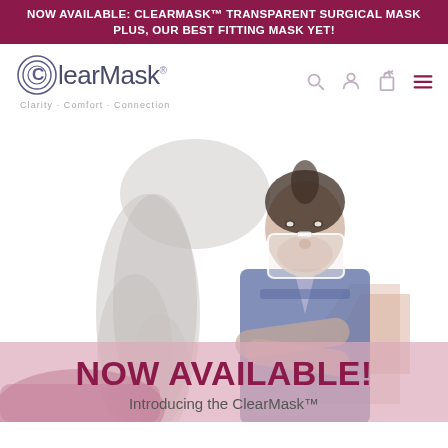NOW AVAILABLE: CLEARMASK™ TRANSPARENT SURGICAL MASK PLUS, OUR BEST FITTING MASK YET!
[Figure (logo): ClearMask logo with circular C emblem and tagline 'Clarity. Comfort. Connection.']
[Figure (photo): Composite image of two people wearing ClearMask transparent surgical masks — a person in a blue medical scrub top standing with arms crossed wearing the transparent mask, overlaid with a person with long curly hair from behind, on a white background.]
NOW AVAILABLE!
Introducing the ClearMask™